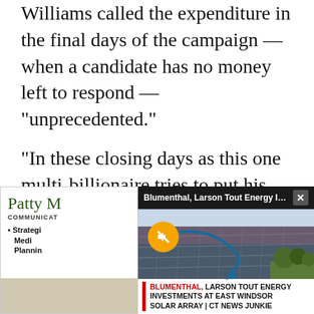Williams called the expenditure in the final days of the campaign — when a candidate has no money left to respond — "unprecedented."
"In these closing days as this one multi-billionaire tries to put his thumb on the scale and tip it in favor of the billionaires and against middle class families, we're going to roll up our sleeves to let people know what's going on," Williams said.
[Figure (screenshot): Partially visible advertisement for 'Patty M Communications' overlaid by a video player popup titled 'Blumenthal, Larson Tout Energy Inv...' showing solar panels with a mute button and an arrow overlay. Bottom bar reads: BLUMENTHAL, LARSON TOUT ENERGY INVESTMENTS AT EAST WINDSOR SOLAR ARRAY | CT NEWS JUNKIE]